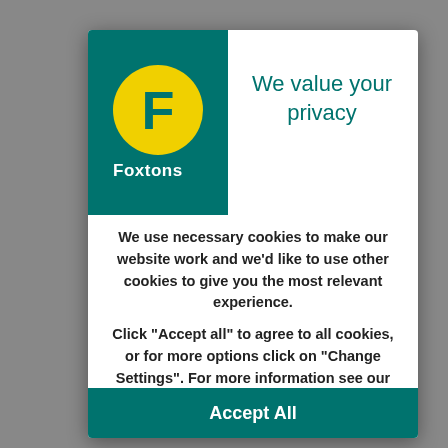[Figure (logo): Foxtons logo: green rectangle with yellow circular badge containing letter F, and white Foxtons text below]
We value your privacy
We use necessary cookies to make our website work and we'd like to use other cookies to give you the most relevant experience.
Click “Accept all” to agree to all cookies, or for more options click on “Change Settings”. For more information see our cookie policy
Accept All